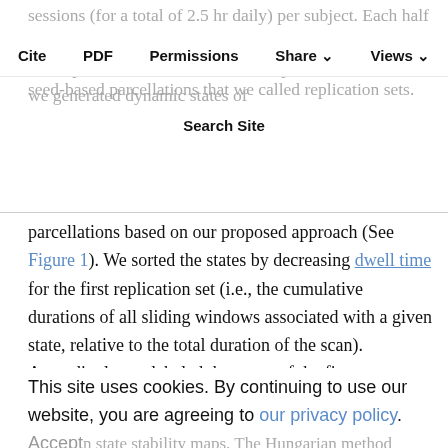sessions (for a total of 2.5 hr daily) per subject. Each half (about 1.5 hr) super subject used several seed-based parcellations that we called replication sets. Then, we generated dynamic states of
Cite  PDF  Permissions  Share  Views  Search Site
parcellations based on our proposed approach (See Figure 1). We sorted the states by decreasing dwell time for the first replication set (i.e., the cumulative durations of all sliding windows associated with a given state, relative to the total duration of the scan). Accordingly, we labeled the states of the first replication set into primary state, secondary state, tertiary state, and so on. Prior to comparing our state stability maps, we matched the first set of maps to maps from the second
set using the Hungarian method (Kuhn, 2010), which used the Pearson correlation for the spatial matching of state stability maps. The Hungarian method was applied to the within-subject and between
This site uses cookies. By continuing to use our website, you are agreeing to our privacy policy. Accept